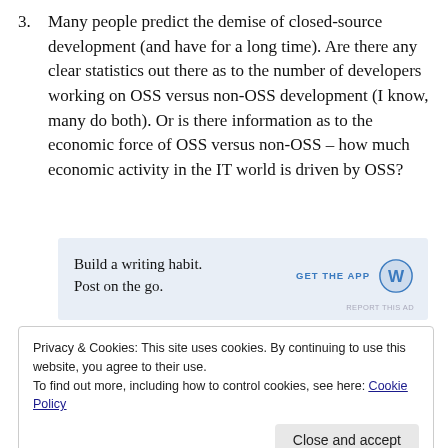3. Many people predict the demise of closed-source development (and have for a long time). Are there any clear statistics out there as to the number of developers working on OSS versus non-OSS development (I know, many do both). Or is there information as to the economic force of OSS versus non-OSS – how much economic activity in the IT world is driven by OSS?
[Figure (other): WordPress app advertisement banner. Text: 'Build a writing habit. Post on the go.' with 'GET THE APP' call to action and WordPress logo icon. Light blue background.]
Privacy & Cookies: This site uses cookies. By continuing to use this website, you agree to their use.
To find out more, including how to control cookies, see here: Cookie Policy